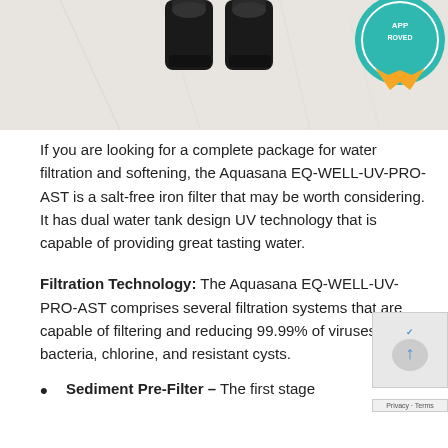[Figure (photo): Partial product photo showing water filter tanks at top, with a teal/gold approval badge stamp visible in upper right corner. White/gray marble-like background.]
If you are looking for a complete package for water filtration and softening, the Aquasana EQ-WELL-UV-PRO-AST is a salt-free iron filter that may be worth considering. It has dual water tank design UV technology that is capable of providing great tasting water.
Filtration Technology: The Aquasana EQ-WELL-UV-PRO-AST comprises several filtration systems that are capable of filtering and reducing 99.99% of viruses, bacteria, chlorine, and resistant cysts.
Sediment Pre-Filter – The first stage